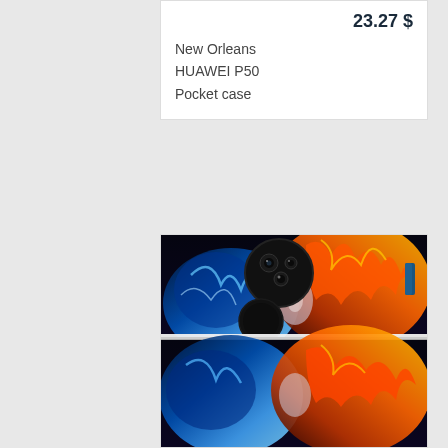23.27 $
New Orleans
HUAWEI P50
Pocket case
[Figure (photo): Photo of a Huawei P50 Pocket foldable phone case with a fire and ice / water design on the back. The case shows blue flames/water on the left side and orange/red fire on the right side. The phone has a circular camera module area visible at the top. The phone is shown folded with the hinge visible in the middle.]